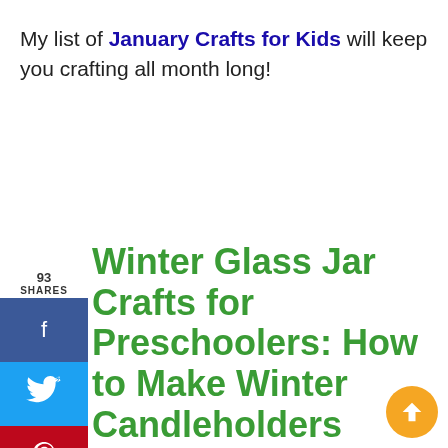My list of January Crafts for Kids will keep you crafting all month long!
Winter Glass Jar Crafts for Preschoolers: How to Make Winter Candleholders
| Craft Supplies: | Time to Complete: |
| --- | --- |
| Empty jar | 15-20 minutes |
| Glitter paint | (plus drying |
(something
(plus drying